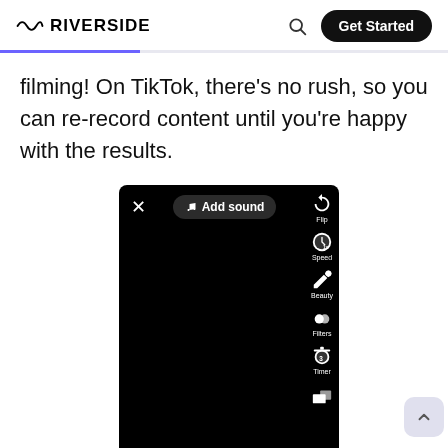RIVERSIDE | Get Started
filming! On TikTok, there's no rush, so you can re-record content until you're happy with the results.
[Figure (screenshot): TikTok camera interface showing 'Add sound' button at top, X close button, and right-side icons for Flip, Speed, Beauty, Filters, Timer controls on a black screen background.]